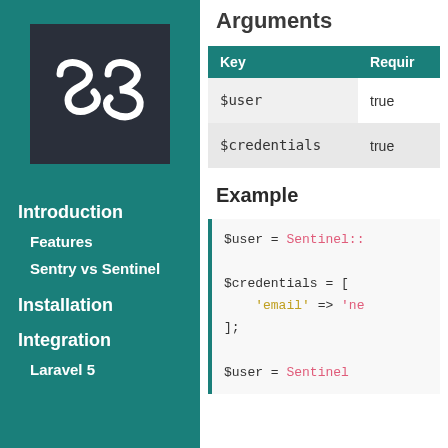[Figure (logo): Cartalyst logo - white S3 monogram on dark background]
Introduction
Features
Sentry vs Sentinel
Installation
Integration
Laravel 5
Arguments
| Key | Requir... |
| --- | --- |
| $user | true |
| $credentials | true |
Example
$user = Sentinel::...
$credentials = [
    'email' => 'ne...
];
$user = Sentinel...